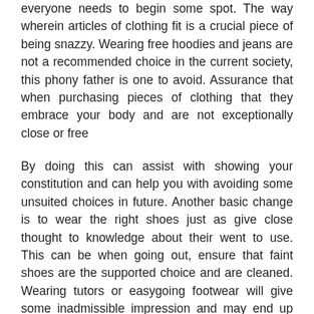everyone needs to begin some spot. The way wherein articles of clothing fit is a crucial piece of being snazzy. Wearing free hoodies and jeans are not a recommended choice in the current society, this phony father is one to avoid. Assurance that when purchasing pieces of clothing that they embrace your body and are not exceptionally close or free
By doing this can assist with showing your constitution and can help you with avoiding some unsuited choices in future. Another basic change is to wear the right shoes just as give close thought to knowledge about their went to use. This can be when going out, ensure that faint shoes are the supported choice and are cleaned. Wearing tutors or easygoing footwear will give some inadmissible impression and may end up making bouncers reject you from entering the premises. Recall that gritty hued is similarly a common shade of shoe anyway have a go